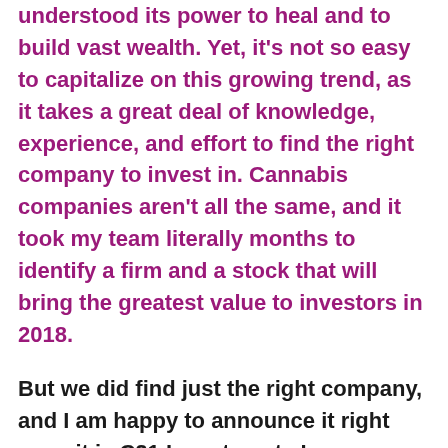understood its power to heal and to build vast wealth. Yet, it's not so easy to capitalize on this growing trend, as it takes a great deal of knowledge, experience, and effort to find the right company to invest in. Cannabis companies aren't all the same, and it took my team literally months to identify a firm and a stock that will bring the greatest value to investors in 2018.
But we did find just the right company, and I am happy to announce it right now: it is C21 Investments Inc. (CSE:CXXI).